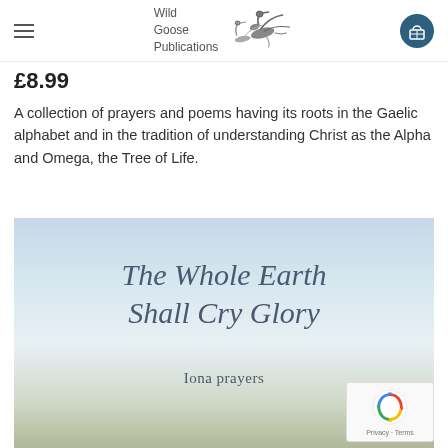Wild Goose Publications
£8.99
A collection of prayers and poems having its roots in the Gaelic alphabet and in the tradition of understanding Christ as the Alpha and Omega, the Tree of Life.
[Figure (photo): Book cover of 'The Whole Earth Shall Cry Glory – Iona prayers', with a light blue sky and landscape background, title in large italic serif font, subtitle 'Iona prayers' below.]